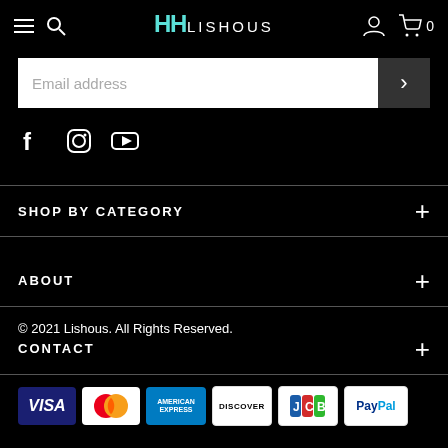HH LISHOUS — navigation header with menu, search, logo, user, cart
[Figure (screenshot): Email address input field with submit arrow button]
[Figure (infographic): Social media icons: Facebook, Instagram, YouTube]
SHOP BY CATEGORY
ABOUT
CONTACT
© 2021 Lishous. All Rights Reserved.
[Figure (infographic): Payment method badges: VISA, MasterCard, American Express, Discover, JCB, PayPal]